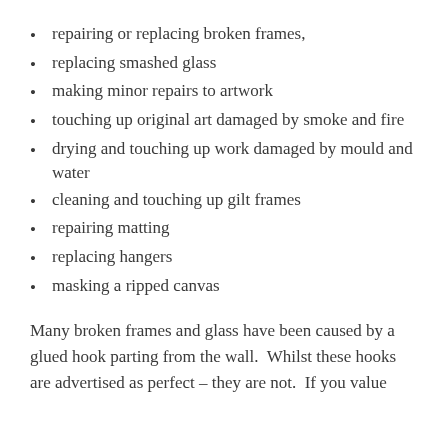repairing or replacing broken frames,
replacing smashed glass
making minor repairs to artwork
touching up original art damaged by smoke and fire
drying and touching up work damaged by mould and water
cleaning and touching up gilt frames
repairing matting
replacing hangers
masking a ripped canvas
Many broken frames and glass have been caused by a glued hook parting from the wall.  Whilst these hooks are advertised as perfect – they are not.  If you value